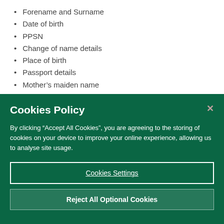Forename and Surname
Date of birth
PPSN
Change of name details
Place of birth
Passport details
Mother's maiden name
Father's name
Home address
Cookies Policy
By clicking “Accept All Cookies”, you are agreeing to the storing of cookies on your device to improve your online experience, allowing us to analyse site usage.
Cookies Settings
Reject All Optional Cookies